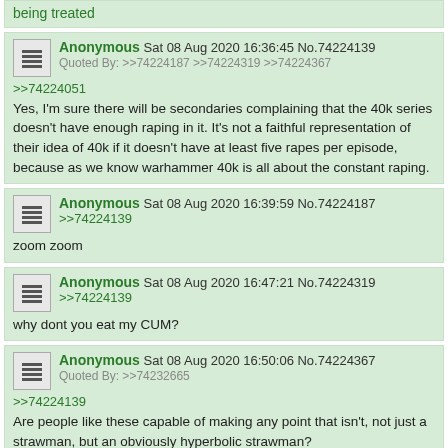being treated
Anonymous Sat 08 Aug 2020 16:36:45 No.74224139
Quoted By: >>74224187 >>74224319 >>74224367
>>74224051
Yes, I'm sure there will be secondaries complaining that the 40k series doesn't have enough raping in it. It's not a faithful representation of their idea of 40k if it doesn't have at least five rapes per episode, because as we know warhammer 40k is all about the constant raping.
Anonymous Sat 08 Aug 2020 16:39:59 No.74224187
>>74224139
zoom zoom
Anonymous Sat 08 Aug 2020 16:47:21 No.74224319
>>74224139
why dont you eat my CUM?
Anonymous Sat 08 Aug 2020 16:50:06 No.74224367
Quoted By: >>74232665
>>74224139
Are people like these capable of making any point that isn't, not just a strawman, but an obviously hyperbolic strawman?
Anonymous Sat 08 Aug 2020 16:54:08 No.74224452